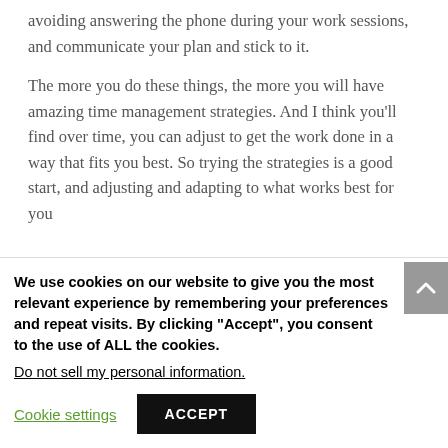avoiding answering the phone during your work sessions, and communicate your plan and stick to it.

The more you do these things, the more you will have amazing time management strategies. And I think you'll find over time, you can adjust to get the work done in a way that fits you best. So trying the strategies is a good start, and adjusting and adapting to what works best for you
We use cookies on our website to give you the most relevant experience by remembering your preferences and repeat visits. By clicking "Accept", you consent to the use of ALL the cookies.
Do not sell my personal information.
Cookie settings
ACCEPT